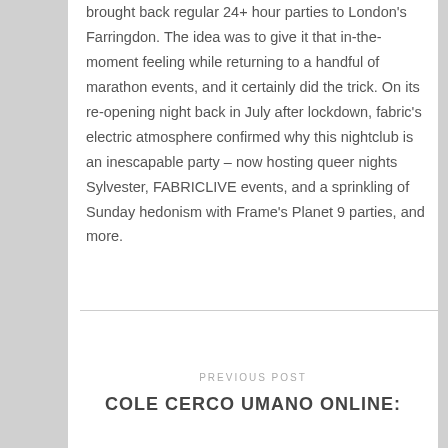brought back regular 24+ hour parties to London's Farringdon. The idea was to give it that in-the-moment feeling while returning to a handful of marathon events, and it certainly did the trick. On its re-opening night back in July after lockdown, fabric's electric atmosphere confirmed why this nightclub is an inescapable party – now hosting queer nights Sylvester, FABRICLIVE events, and a sprinkling of Sunday hedonism with Frame's Planet 9 parties, and more.
PREVIOUS POST
COLE CERCO UMANO ONLINE: